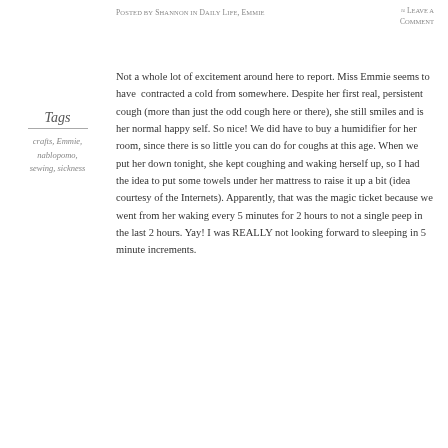Posted by Shannon in Daily Life, Emmie   ≈ Leave a Comment
Tags
crafts, Emmie, nablopomo, sewing, sickness
Not a whole lot of excitement around here to report. Miss Emmie seems to have  contracted a cold from somewhere. Despite her first real, persistent cough (more than just the odd cough here or there), she still smiles and is her normal happy self. So nice! We did have to buy a humidifier for her room, since there is so little you can do for coughs at this age. When we put her down tonight, she kept coughing and waking herself up, so I had the idea to put some towels under her mattress to raise it up a bit (idea courtesy of the Internets). Apparently, that was the magic ticket because we went from her waking every 5 minutes for 2 hours to not a single peep in the last 2 hours. Yay! I was REALLY not looking forward to sleeping in 5 minute increments.